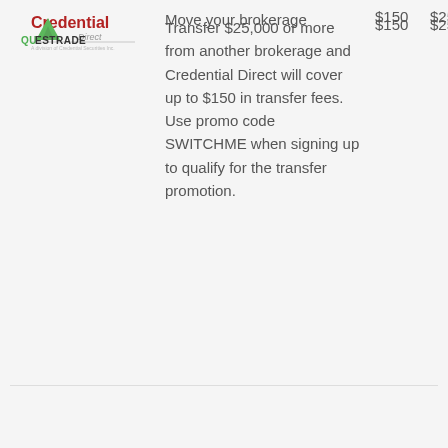[Figure (logo): Credential Direct logo - red bold text with 'Direct' in grey below]
Transfer $25,000 or more from another brokerage and Credential Direct will cover up to $150 in transfer fees. Use promo code SWITCHME when signing up to qualify for the transfer promotion.
$150
$25
[Figure (logo): Questrade logo - green triangle mountain icon with QUESTRADE text]
Move your brokerage
$150
$25